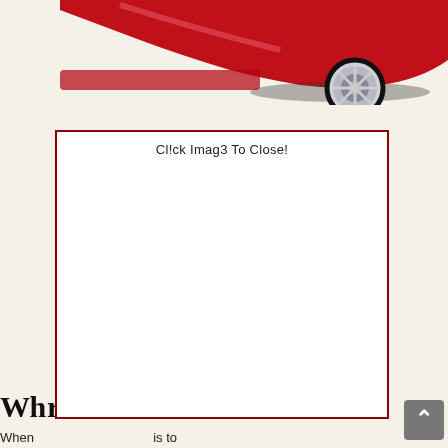[Figure (photo): Partial rear view of a red sports car with a chrome wheel, photographed on a white/cream background, cropped at top of page.]
Cl!ck Imag3 To Close!
Wh...r
When... is to